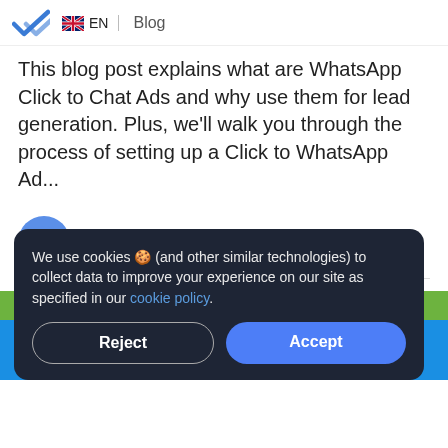EN | Blog
This blog post explains what are WhatsApp Click to Chat Ads and why use them for lead generation. Plus, we'll walk you through the process of setting up a Click to WhatsApp Ad...
CHRIS LAI
August 19, 2021
- PRACTICAL GUIDE -
We use cookies 🍪 (and other similar technologies) to collect data to improve your experience on our site as specified in our cookie policy.
Reject
Accept
ADS